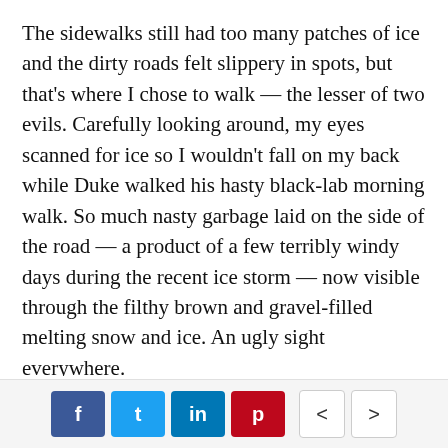The sidewalks still had too many patches of ice and the dirty roads felt slippery in spots, but that's where I chose to walk — the lesser of two evils. Carefully looking around, my eyes scanned for ice so I wouldn't fall on my back while Duke walked his hasty black-lab morning walk. So much nasty garbage laid on the side of the road — a product of a few terribly windy days during the recent ice storm — now visible through the filthy brown and gravel-filled melting snow and ice. An ugly sight everywhere.
Then I heard birds singing. I stopped. I heard them again. Yes, it was a January morning, and not many birds are usually heard these mornings, but they knew what I did: it was above freezing.